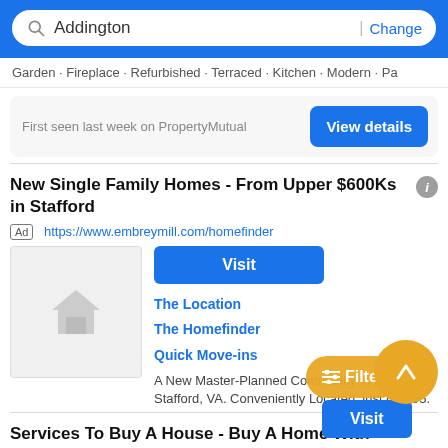Addington | Change
Garden · Fireplace · Refurbished · Terraced · Kitchen · Modern · Pa
First seen last week on PropertyMutual
View details
New Single Family Homes - From Upper $600Ks in Stafford
Ad  https://www.embreymill.com/homefinder
Visit
The Location
The Homefinder
Quick Move-ins
A New Master-Planned Community in North Stafford, VA. Conveniently Located Just off I-95.
Services To Buy A House - Buy A Home With Confidence - The #1 Agent In Virginia
Ad  https://www.glasshousere.com/homerepresentation
Filter
Visit